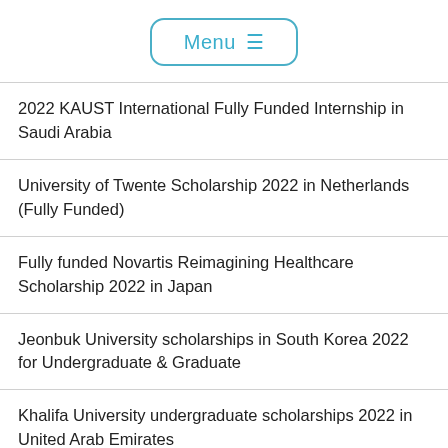[Figure (other): Menu button with hamburger icon, rounded rectangle border in teal/cyan color]
2022 KAUST International Fully Funded Internship in Saudi Arabia
University of Twente Scholarship 2022 in Netherlands (Fully Funded)
Fully funded Novartis Reimagining Healthcare Scholarship 2022 in Japan
Jeonbuk University scholarships in South Korea 2022 for Undergraduate & Graduate
Khalifa University undergraduate scholarships 2022 in United Arab Emirates